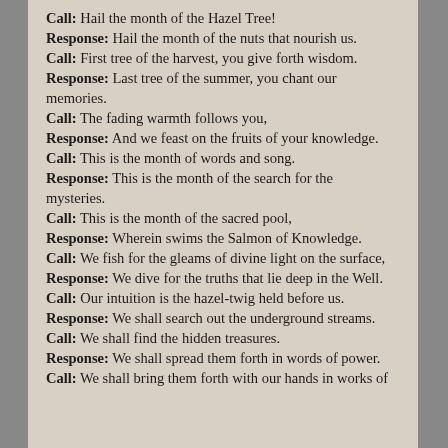Call: Hail the month of the Hazel Tree!
Response: Hail the month of the nuts that nourish us.
Call: First tree of the harvest, you give forth wisdom.
Response: Last tree of the summer, you chant our memories.
Call: The fading warmth follows you,
Response: And we feast on the fruits of your knowledge.
Call: This is the month of words and song.
Response: This is the month of the search for the mysteries.
Call: This is the month of the sacred pool,
Response: Wherein swims the Salmon of Knowledge.
Call: We fish for the gleams of divine light on the surface,
Response: We dive for the truths that lie deep in the Well.
Call: Our intuition is the hazel-twig held before us.
Response: We shall search out the underground streams.
Call: We shall find the hidden treasures.
Response: We shall spread them forth in words of power.
Call: We shall bring them forth with our hands in works of